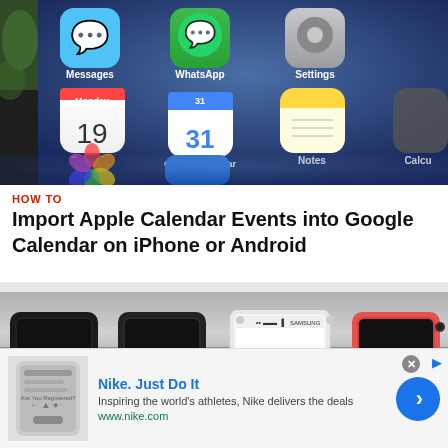[Figure (photo): Close-up of an iPhone screen showing app icons: Messages, WhatsApp, Settings, Calendar (Monday 19), Google Calendar (31), Notes, Photos, and other icons on a blue background.]
HOW TO
Import Apple Calendar Events into Google Calendar on iPhone or Android
[Figure (photo): Photo showing multiple smartphones lined up side by side including iPhone models and a Samsung Android phone.]
[Figure (screenshot): Advertisement banner for Nike. Just Do It. Inspiring the world's athletes, Nike delivers the deals. www.nike.com]